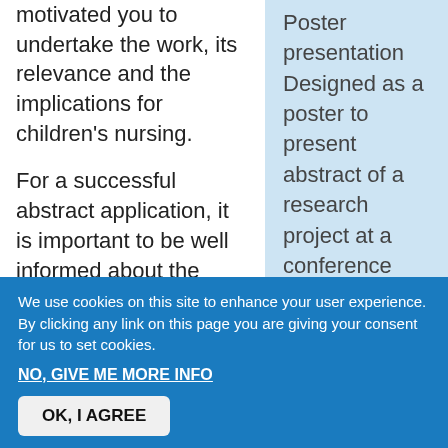motivated you to undertake the work, its relevance and the implications for children's nursing.
For a successful abstract application, it is important to be well informed about the theme of the conference and match it appropriately to the presentation topic. Conferences provide very
Poster presentation Designed as a poster to present abstract of a research project at a conference
We use cookies on this site to enhance your user experience. By clicking any link on this page you are giving your consent for us to set cookies.
NO, GIVE ME MORE INFO
OK, I AGREE